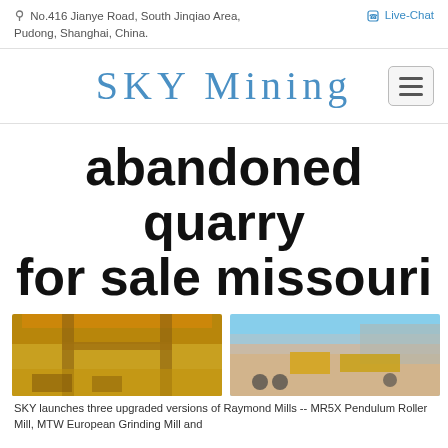No.416 Jianye Road, South Jinqiao Area, Pudong, Shanghai, China.
Live-Chat
[Figure (logo): SKY Mining logo in blue serif font with hamburger menu button on the right]
abandoned quarry for sale missouri
[Figure (photo): Two mining/quarry site photos side by side. Left: yellow overhead crane/conveyor structure. Right: aerial view of quarry with yellow mining equipment.]
SKY launches three upgraded versions of Raymond Mills -- MR5X Pendulum Roller Mill, MTW European Grinding Mill and